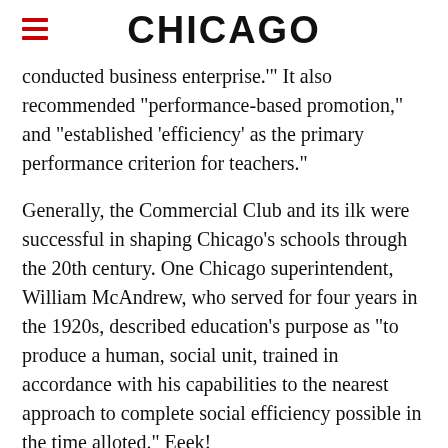CHICAGO
conducted business enterprise.'" It also recommended "performance-based promotion," and "established 'efficiency' as the primary performance criterion for teachers."
Generally, the Commercial Club and its ilk were successful in shaping Chicago's schools through the 20th century. One Chicago superintendent, William McAndrew, who served for four years in the 1920s, described education's purpose as "to produce a human, social unit, trained in accordance with his capabilities to the nearest approach to complete social efficiency possible in the time alloted." Eeek!